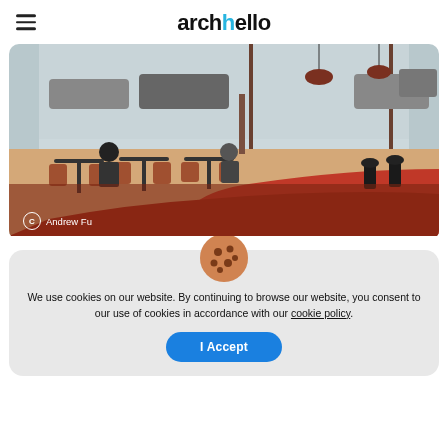archello
[Figure (photo): Interior of a cafe/restaurant with a distinctive curved red counter, wooden chairs, tables, and large street-facing windows. People seated in background.]
© Andrew Fu
We use cookies on our website. By continuing to browse our website, you consent to our use of cookies in accordance with our cookie policy.
I Accept